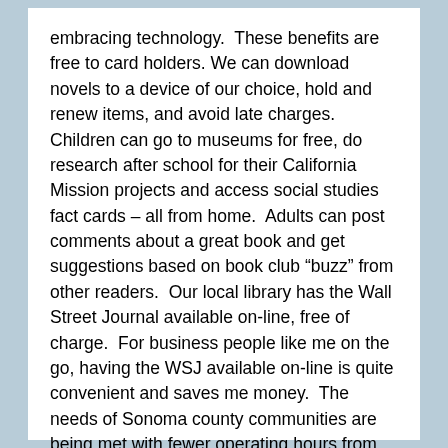embracing technology.  These benefits are free to card holders. We can download novels to a device of our choice, hold and renew items, and avoid late charges. Children can go to museums for free, do research after school for their California Mission projects and access social studies fact cards – all from home.  Adults can post comments about a great book and get suggestions based on book club “buzz” from other readers.  Our local library has the Wall Street Journal available on-line, free of charge.  For business people like me on the go, having the WSJ available on-line is quite convenient and saves me money.  The needs of Sonoma county communities are being met with fewer operating hours from the library.